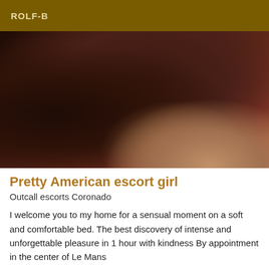ROLF-B
[Figure (photo): Close-up photo with dark brown tones and a small area of skin-toned color in the lower right corner]
Pretty American escort girl
Outcall escorts Coronado
I welcome you to my home for a sensual moment on a soft and comfortable bed. The best discovery of intense and unforgettable pleasure in 1 hour with kindness By appointment in the center of Le Mans